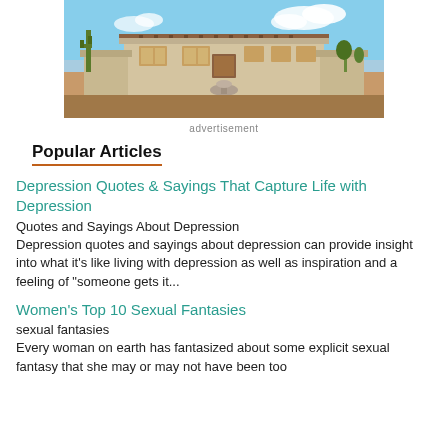[Figure (photo): Exterior photo of a Southwest-style adobe house with desert landscaping, cacti, and a fountain in the driveway under a blue sky.]
advertisement
Popular Articles
Depression Quotes & Sayings That Capture Life with Depression
Quotes and Sayings About Depression
Depression quotes and sayings about depression can provide insight into what it's like living with depression as well as inspiration and a feeling of "someone gets it...
Women's Top 10 Sexual Fantasies
sexual fantasies
Every woman on earth has fantasized about some explicit sexual fantasy that she may or may not have been too